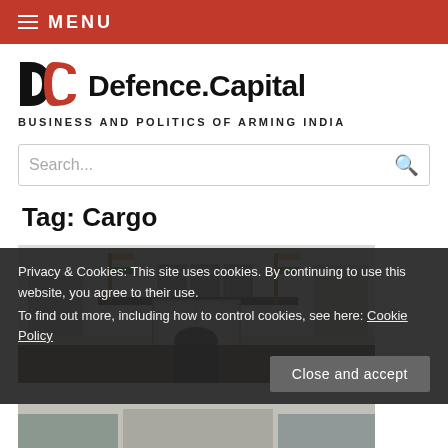MENU
Defence.Capital
BUSINESS AND POLITICS OF ARMING INDIA
Search...
Tag: Cargo
[Figure (photo): Photo of an official meeting room with Indian flags and portraits on the wall, officials seated at a desk]
Privacy & Cookies: This site uses cookies. By continuing to use this website, you agree to their use.
To find out more, including how to control cookies, see here: Cookie Policy
Close and accept